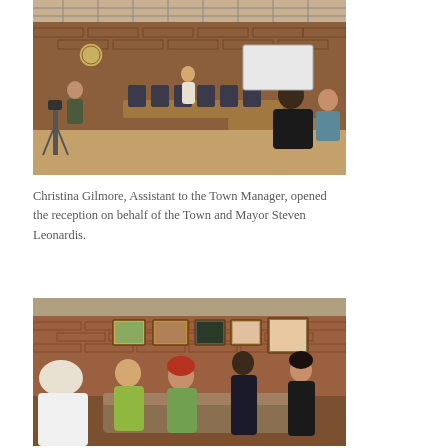[Figure (photo): Interior of a government council chamber with brick walls, drop ceiling with grid lighting, a person standing and speaking at the front, and audience members seated on wooden benches facing the speaker. A camera operator is visible on the left.]
Christina Gilmore, Assistant to the Town Manager, opened the reception on behalf of the Town and Mayor Steven Leonardis.
[Figure (photo): A group of people conversing at a reception inside a room with a brick wall hung with framed artwork/paintings. Several people are standing and talking, including a man in a yellow shirt, a woman with red hair in green, and others.]